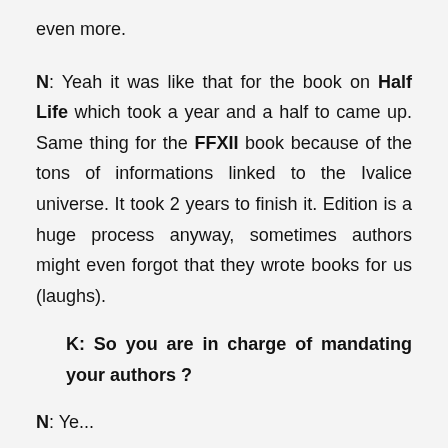even more.
N: Yeah it was like that for the book on Half Life which took a year and a half to came up. Same thing for the FFXII book because of the tons of informations linked to the Ivalice universe. It took 2 years to finish it. Edition is a huge process anyway, sometimes authors might even forgot that they wrote books for us (laughs).
K: So you are in charge of mandating your authors ?
N: Ye...